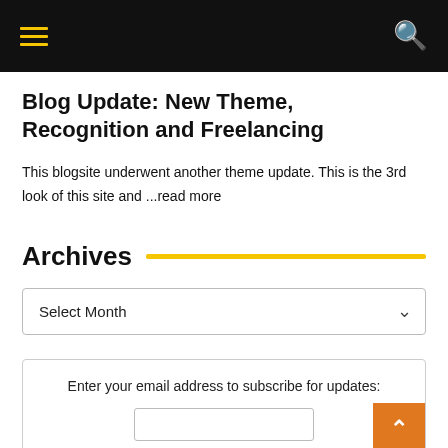Navigation bar with hamburger menu and search icon
Blog Update: New Theme, Recognition and Freelancing
This blogsite underwent another theme update. This is the 3rd look of this site and ...read more
Archives
Select Month
Enter your email address to subscribe for updates: